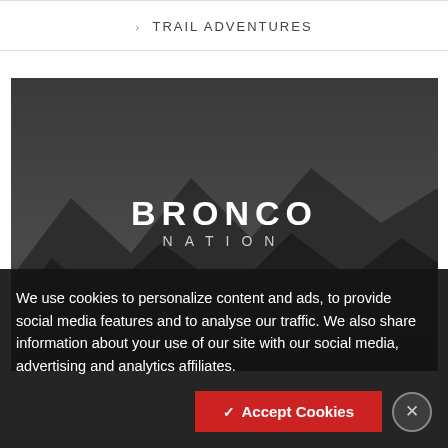> TRAIL ADVENTURES
[Figure (screenshot): Bronco Nation website screenshot showing dark background with mountain silhouettes and 'BRONCO NATION' logo text in white]
We use cookies to personalize content and ads, to provide social media features and to analyse our traffic. We also share information about your use of our site with our social media, advertising and analytics affiliates.
✓ Accept Cookies